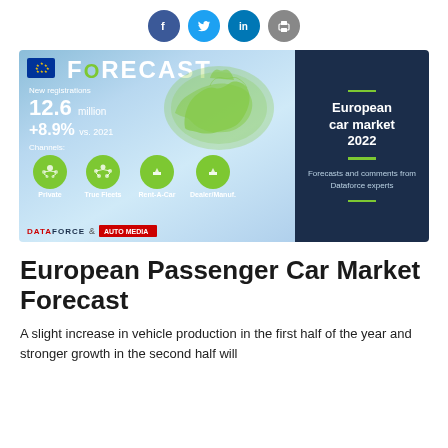[Figure (infographic): Social media share icons row: Facebook (blue), Twitter (cyan), LinkedIn (blue), Print (grey)]
[Figure (infographic): European car market 2022 forecast infographic banner. Left side (light blue): 'FORECAST' title with EU flag, New registrations 12.6 million, +8.9% vs. 2021, Channels: Private, True Fleets, Rent-A-Car, Dealer/Manuf. Green circle icons. Map of Europe in green. DATAFORCE & partner logo. Right side (dark blue): European car market 2022, Forecasts and comments from Dataforce experts.]
European Passenger Car Market Forecast
A slight increase in vehicle production in the first half of the year and stronger growth in the second half will...